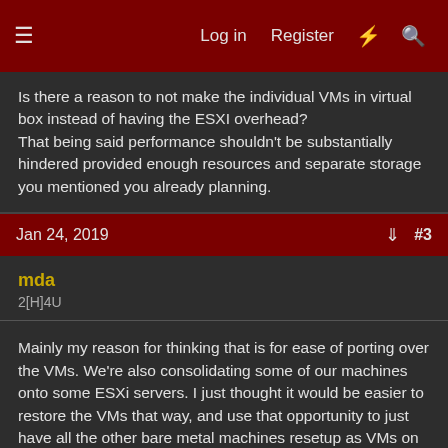Log in  Register  # Search
Is there a reason to not make the individual VMs in virtual box instead of having the ESXI overhead?
That being said performance shouldn't be substantially hindered provided enough resources and separate storage you mentioned you already planning.
Jan 24, 2019   #3
mda
2[H]4U
Mainly my reason for thinking that is for ease of porting over the VMs. We're also consolidating some of our machines onto some ESXi servers. I just thought it would be easier to restore the VMs that way, and use that opportunity to just have all the other bare metal machines resetup as VMs on the ESXi while I'm at it.